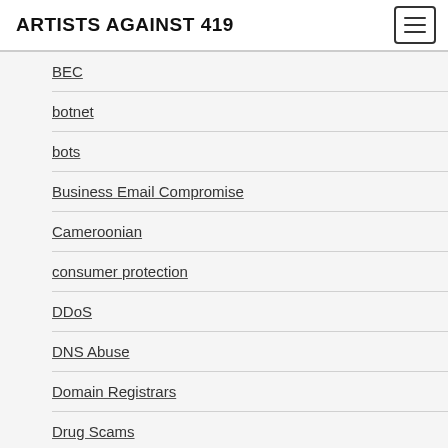ARTISTS AGAINST 419
BEC
botnet
bots
Business Email Compromise
Cameroonian
consumer protection
DDoS
DNS Abuse
Domain Registrars
Drug Scams